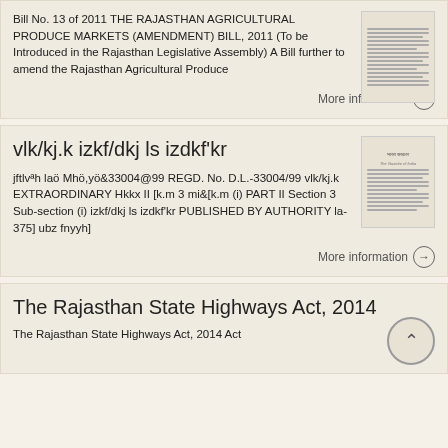Bill No. 13 of 2011 THE RAJASTHAN AGRICULTURAL PRODUCE MARKETS (AMENDMENT) BILL, 2011 (To be Introduced in the Rajasthan Legislative Assembly) A Bill further to amend the Rajasthan Agricultural Produce
More information →
vlk/kj.k izkf/dkj ls izdkf'kr
jftlvªh laö Mhö,yö&33004@99 REGD. No. D.L.-33004/99 vlk/kj.k EXTRAORDINARY Hkkx II [k.m 3 mi&[k.m (i) PART II Section 3 Sub-section (i) izkf/dkj ls izdkf'kr PUBLISHED BY AUTHORITY la- 375] ubz fnyyh]
More information →
The Rajasthan State Highways Act, 2014
The Rajasthan State Highways Act, 2014 Act